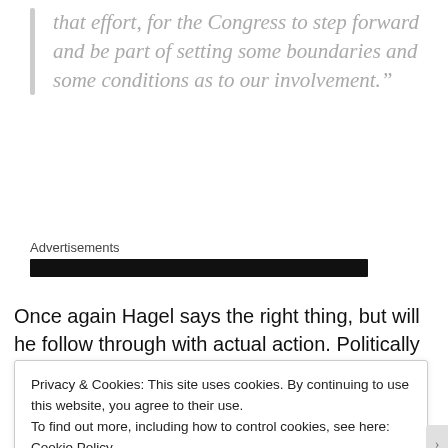that effort, for the Congress to step forward and be part of setting some boundaries and some conditions as to our involvement.”
Advertisements
Once again Hagel says the right thing, but will he follow through with actual action. Politically the guy has nothing
Privacy & Cookies: This site uses cookies. By continuing to use this website, you agree to their use.
To find out more, including how to control cookies, see here: Cookie Policy
Close and accept